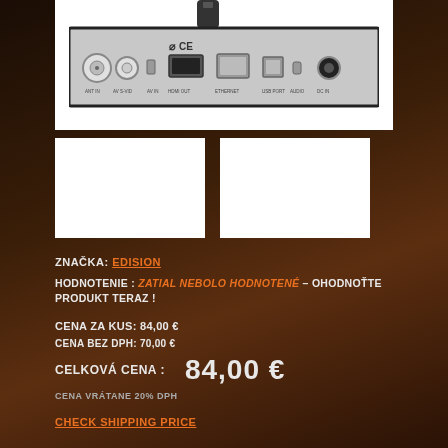[Figure (photo): Product back panel showing various ports: ANT IN, AV S-VID, AV IN, HDMI OUT, ETHERNET, USB port, AUDIO, DC IN. CE certification mark visible. Remote control shown above.]
[Figure (photo): Additional product thumbnail image 1 (white/blank)]
[Figure (photo): Additional product thumbnail image 2 (white/blank)]
ZNAČKA: EDISION
HODNOTENIE : ZATIAL NEBOLO HODNOTENÉ – OHODNOŤTE PRODUKT TERAZ !
CENA ZA KUS: 84,00 €
CENA BEZ DPH: 70,00 €
CELKOVÁ CENA : 84,00 €
CENA VRÁTANE 20% DPH
CHECK SHIPPING PRICE